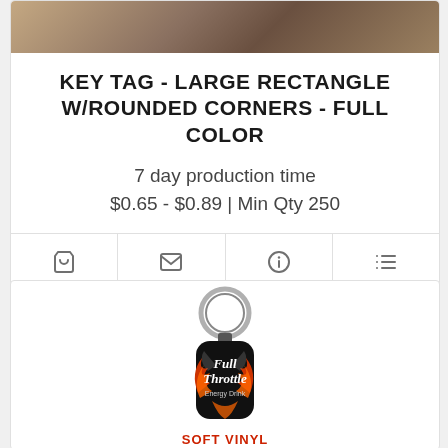[Figure (photo): Partial product photo strip at top of card]
KEY TAG - LARGE RECTANGLE W/ROUNDED CORNERS - FULL COLOR
7 day production time
$0.65 - $0.89 | Min Qty 250
[Figure (infographic): Action bar with four icons: cart, envelope, info, list]
[Figure (photo): Key tag product photo showing a Full Throttle Energy Drink branded soft vinyl key tag with metal ring]
SOFT VINYL